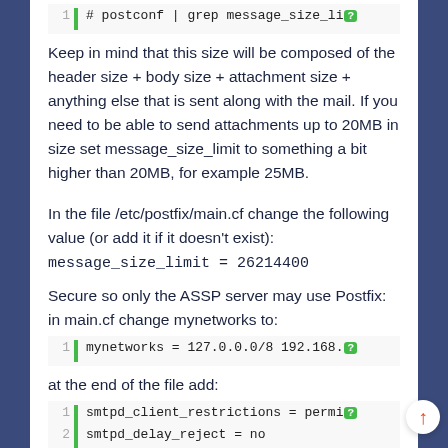# postconf | grep message_size_li [clipped]
Keep in mind that this size will be composed of the header size + body size + attachment size + anything else that is sent along with the mail. If you need to be able to send attachments up to 20MB in size set message_size_limit to something a bit higher than 20MB, for example 25MB.
In the file /etc/postfix/main.cf change the following value (or add it if it doesn't exist):
message_size_limit = 26214400
Secure so only the ASSP server may use Postfix: in main.cf change mynetworks to:
mynetworks = 127.0.0.0/8 192.168. [clipped]
at the end of the file add:
smtpd_client_restrictions = permi[clipped]
smtpd_delay_reject = no
transport_maps = hash:/etc/postfix.
Look for the value 'mydestination' and remove your